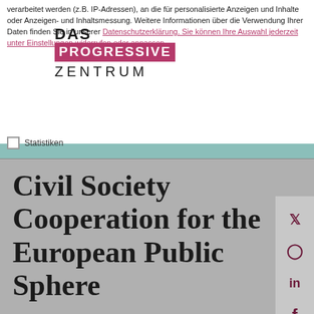verarbeitet werden (z.B. IP-Adressen), an die für personalisierte Anzeigen und Inhalte oder Anzeigen- und Inhaltsmessung. Weitere Informationen über die Verwendung Ihrer Daten finden Sie in unserer Datenschutzerklärung. Sie können Ihre Auswahl jederzeit unter Einstellungen widerrufen oder anpassen.
[Figure (logo): DAS PROGRESSIVE ZENTRUM logo overlaid on cookie consent dialog]
DE | EN
✓ Essenziell
Essenzielle Cookies ermöglichen grundlegende Funktionen und sind für die einwandfreie Funktion der Website erforderlich.
Statistiken
Civil Society Cooperation for the European Public Sphere